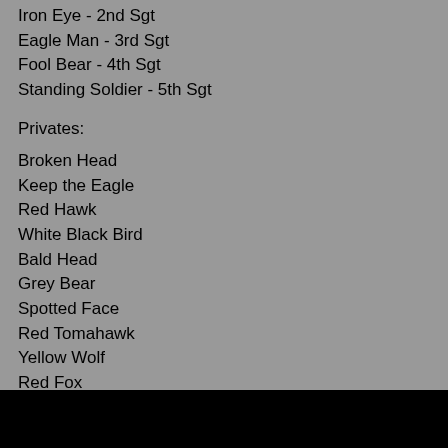Iron Eye - 2nd Sgt
Eagle Man - 3rd Sgt
Fool Bear - 4th Sgt
Standing Soldier - 5th Sgt
Privates:
Broken Head
Keep the Eagle
Red Hawk
White Black Bird
Bald Head
Grey Bear
Spotted Face
Red Tomahawk
Yellow Wolf
Red Fox
Afraid of Anything
Elk
White Weasel Bear
Shave Head
Red Top
The Middle
Takes the Gun
Iron Thunder